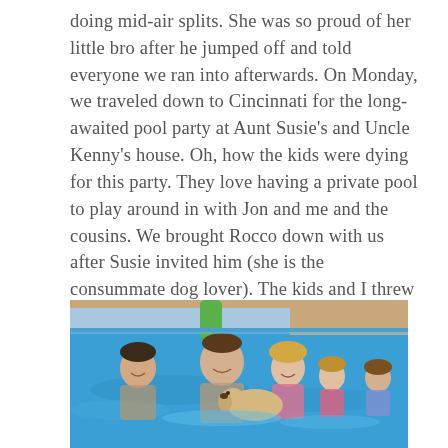doing mid-air splits. She was so proud of her little bro after he jumped off and told everyone we ran into afterwards. On Monday, we traveled down to Cincinnati for the long-awaited pool party at Aunt Susie's and Uncle Kenny's house. Oh, how the kids were dying for this party. They love having a private pool to play around in with Jon and me and the cousins. We brought Rocco down with us after Susie invited him (she is the consummate dog lover). The kids and I threw on our suits and jumped in without five minutes passing from stepping into the yard. Guess who joined us? Yep, Mr. Rocco. He loved the pool, and refused to get out. I tried to pull him out to take a breather after 20 minutes and he hopped right back in when I turned my back.
[Figure (photo): A family photo in a swimming pool. Several people including adults and children are smiling in the water, along with a dog. A green pool noodle or object is visible in the background, and the pool edge and deck are visible.]